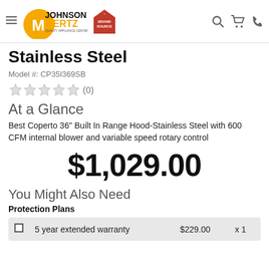[Figure (logo): Johnson Mertz Quality Appliance Center logo with Brand Source logo, hamburger menu, search, cart, and phone icons in header navigation bar]
Stainless Steel
Model #: CP35I369SB
★★★★★ (0)
At a Glance
Best Coperto 36" Built In Range Hood-Stainless Steel with 600 CFM internal blower and variable speed rotary control
$1,029.00
You Might Also Need
Protection Plans
|  | Description | Price | Qty |
| --- | --- | --- | --- |
| ☐ | 5 year extended warranty | $229.00 | x 1 |